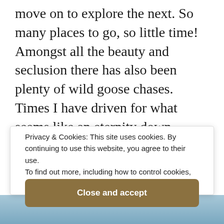move on to explore the next. So many places to go, so little time! Amongst all the beauty and seclusion there has also been plenty of wild goose chases. Times I have driven for what seems like an eternity down winding gravel roads, then scrambled through bushes, scratching my legs on brambles. Only to find a rough, rocky river flowing at such a speed that if I were to jump in, I'd be swept off and never seen again. Or times when I have arrived at a place of incredible
Privacy & Cookies: This site uses cookies. By continuing to use this website, you agree to their use.
To find out more, including how to control cookies, see here:
Cookie Policy
Close and accept